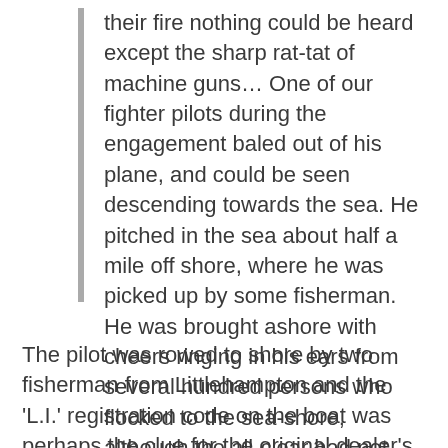their fire nothing could be heard except the sharp rat-tat of machine guns... One of our fighter pilots during the engagement baled out of his plane, and could be seen descending towards the sea. He pitched in the sea about half a mile off shore, where he was picked up by some fisherman. He was brought ashore with cheers ringing in his ears from several hundred persons who flocked to the sea-shore, although the all-clear had not sounded, thus incidentally, exposing themselves to extreme danger.
The pilot was rowed to shore by two fisherman from Littlehampton and the 'L.I.' registration code on the boat was perhaps the clue for the original dealer's